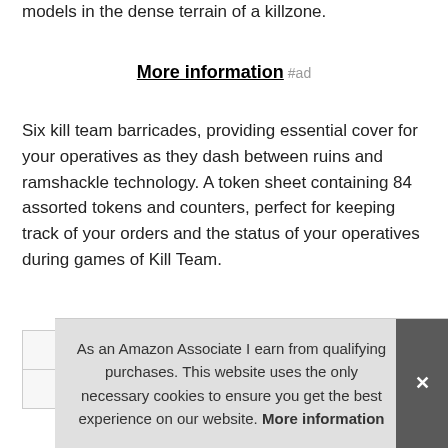models in the dense terrain of a killzone.
More information #ad
Six kill team barricades, providing essential cover for your operatives as they dash between ruins and ramshackle technology. A token sheet containing 84 assorted tokens and counters, perfect for keeping track of your orders and the status of your operatives during games of Kill Team.
|  |  |
| --- | --- |
| Brand | Games Workshop #ad |
| Manufacturer | Games Workshop #ad |
As an Amazon Associate I earn from qualifying purchases. This website uses the only necessary cookies to ensure you get the best experience on our website. More information